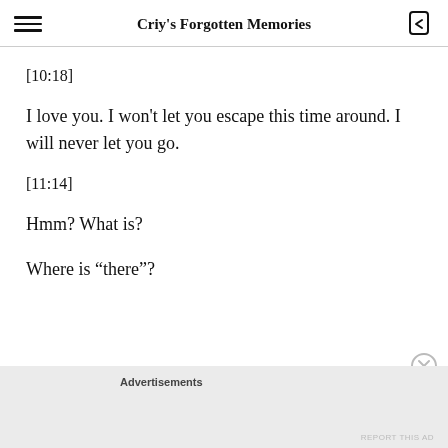Criy's Forgotten Memories
[10:18]
I love you. I won't let you escape this time around. I will never let you go.
[11:14]
Hmm? What is?
Where is “there”?
Advertisements